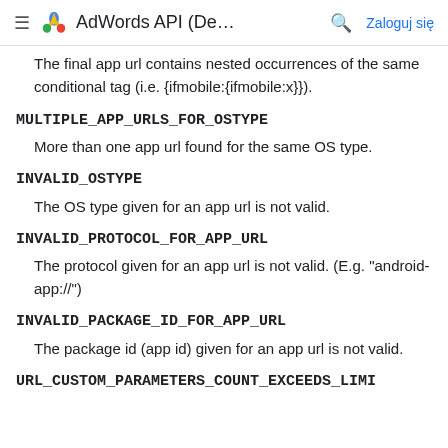≡ AdWords API (De... 🔍 Zaloguj się
The final app url contains nested occurrences of the same conditional tag (i.e. {ifmobile:{ifmobile:x}}).
MULTIPLE_APP_URLS_FOR_OSTYPE
More than one app url found for the same OS type.
INVALID_OSTYPE
The OS type given for an app url is not valid.
INVALID_PROTOCOL_FOR_APP_URL
The protocol given for an app url is not valid. (E.g. "android-app://")
INVALID_PACKAGE_ID_FOR_APP_URL
The package id (app id) given for an app url is not valid.
URL_CUSTOM_PARAMETERS_COUNT_EXCEEDS_LIMI